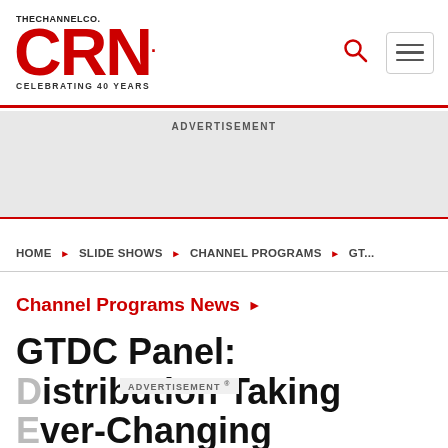[Figure (logo): CRN logo with THE CHANNEL CO. above in small text, CELEBRATING 40 YEARS below, red CRN letters]
ADVERTISEMENT
HOME ► SLIDE SHOWS ► CHANNEL PROGRAMS ► GT...
Channel Programs News ►
GTDC Panel: Distribution Taking Ever-Changing